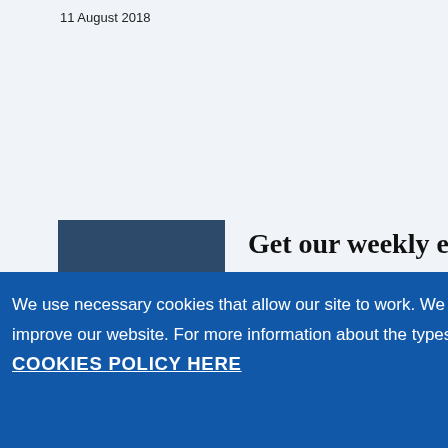11 August 2018
Get our weekly email
from
[Figure (screenshot): Cookie consent banner overlay on a webpage. Blue background with white text reading: We use necessary cookies that allow our site to work. We also set optional cookies that help us improve our website. For more information about the types of cookies we use. READ OUR COOKIES POLICY HERE. Two buttons: COOKIE SETTINGS and ALLOW ALL COOKIES.]
We use necessary cookies that allow our site to work. We also set optional cookies that help us improve our website. For more information about the types of cookies we use. READ OUR COOKIES POLICY HERE
COOKIE SETTINGS
ALLOW ALL COOKIES
House CC  Unsubscribe at any time. We won't sell your data